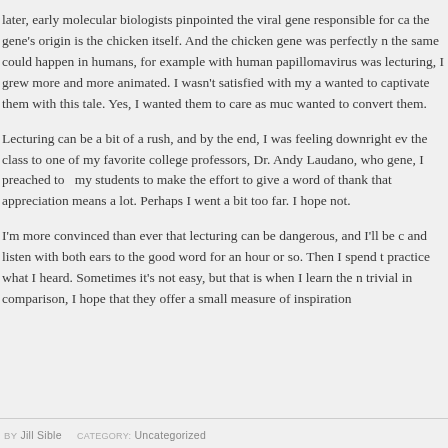later, early molecular biologists pinpointed the viral gene responsible for ca the gene's origin is the chicken itself. And the chicken gene was perfectly n the same could happen in humans, for example with human papillomavirus was lecturing, I grew more and more animated. I wasn't satisfied with my a wanted to captivate them with this tale. Yes, I wanted them to care as muc wanted to convert them.
Lecturing can be a bit of a rush, and by the end, I was feeling downright ev the class to one of my favorite college professors, Dr. Andy Laudano, who gene, I preached to my students to make the effort to give a word of thank that appreciation means a lot. Perhaps I went a bit too far. I hope not.
I'm more convinced than ever that lecturing can be dangerous, and I'll be c and listen with both ears to the good word for an hour or so. Then I spend t practice what I heard. Sometimes it's not easy, but that is when I learn the n trivial in comparison, I hope that they offer a small measure of inspiration
BY Jill Sible   CATEGORY: Uncategorized